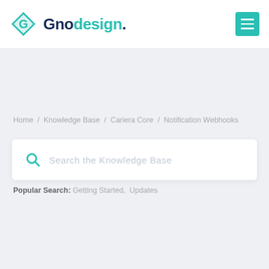Gnodesign.
Home / Knowledge Base / Cariera Core / Notification Webhooks
Search the Knowledge Base
Popular Search: Getting Started, Updates